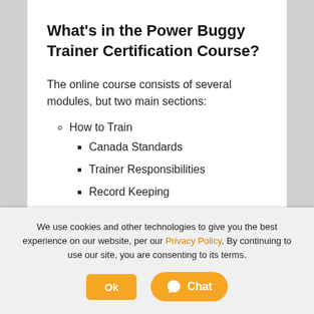What's in the Power Buggy Trainer Certification Course?
The online course consists of several modules, but two main sections:
How to Train
Canada Standards
Trainer Responsibilities
Record Keeping
We use cookies and other technologies to give you the best experience on our website, per our Privacy Policy. By continuing to use our site, you are consenting to its terms.